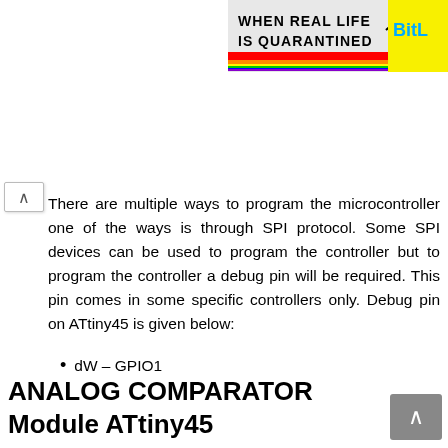[Figure (screenshot): Banner advertisement showing rainbow stripes, text 'WHEN REAL LIFE IS QUARANTINED' and 'BitL' logo on right side]
There are multiple ways to program the microcontroller one of the ways is through SPI protocol. Some SPI devices can be used to program the controller but to program the controller a debug pin will be required. This pin comes in some specific controllers only. Debug pin on ATtiny45 is given below:
dW – GPIO1
ANALOG COMPARATOR Module ATtiny45